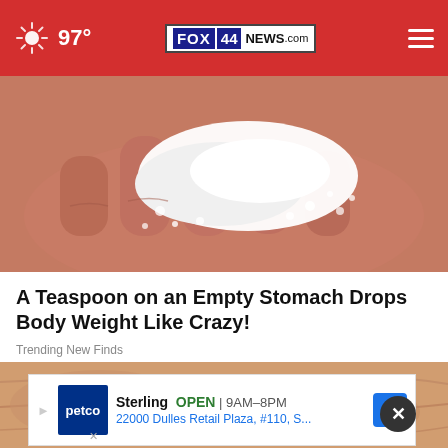97° FOX 44 NEWS.com
[Figure (photo): Close-up of a human hand holding white powder/salt crystals in the palm]
A Teaspoon on an Empty Stomach Drops Body Weight Like Crazy!
Trending New Finds
[Figure (photo): Close-up of skin texture with orange/tan tones, partially obscured by advertisement overlay]
Sterling OPEN | 9AM–8PM 22000 Dulles Retail Plaza, #110, S...